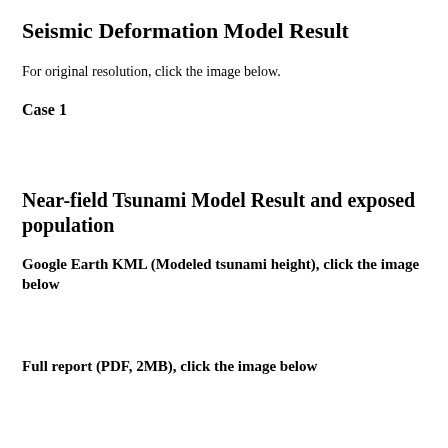Seismic Deformation Model Result
For original resolution, click the image below.
Case 1
Near-field Tsunami Model Result and exposed population
Google Earth KML (Modeled tsunami height), click the image below
Full report (PDF, 2MB), click the image below